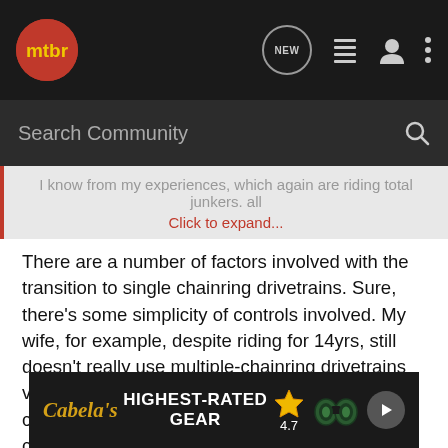mtbr — navigation bar with search
I know from my experiences, which again are riding total junkers, all
Click to expand...
There are a number of factors involved with the transition to single chainring drivetrains. Sure, there's some simplicity of controls involved. My wife, for example, despite riding for 14yrs, still doesn't really use multiple-chainring drivetrains very well. Her road/gravel bike still has 2 chainrings. Her 2 mountain bikes both have 1 chainring, and for her, they're both more intuitive. It probably matters that she really didn't bother with shifting the chainrings when she was a kid. Never really "got it" when her brain was more flexible. She lived in flat states growing up and never had to really change the front until she started
[Figure (screenshot): Cabela's Highest-Rated Gear advertisement banner with star rating 4.7 and binoculars image]